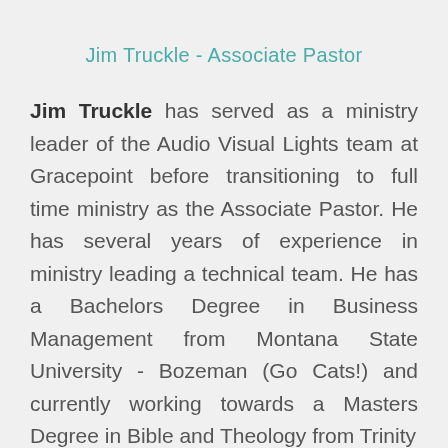Jim Truckle - Associate Pastor
Jim Truckle has served as a ministry leader of the Audio Visual Lights team at Gracepoint before transitioning to full time ministry as the Associate Pastor. He has several years of experience in ministry leading a technical team. He has a Bachelors Degree in Business Management from Montana State University - Bozeman (Go Cats!) and currently working towards a Masters Degree in Bible and Theology from Trinity